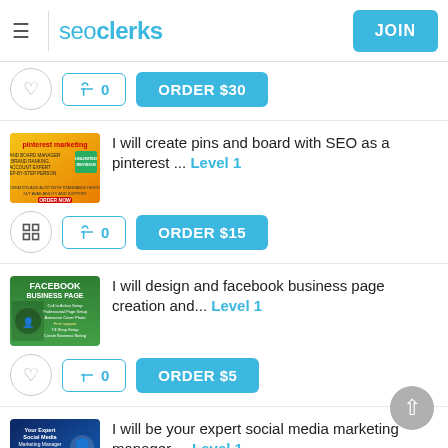seoclerks | JOIN
ORDER $30
[Figure (screenshot): Pinterest marketing service thumbnail with orange/yellow background]
I will create pins and board with SEO as a pinterest ... Level 1
ORDER $15
[Figure (screenshot): Facebook Business Page service thumbnail with green background]
I will design and facebook business page creation and... Level 1
ORDER $5
[Figure (screenshot): Social media marketing manager service thumbnail with blue background]
I will be your expert social media marketing manager ... Level 1